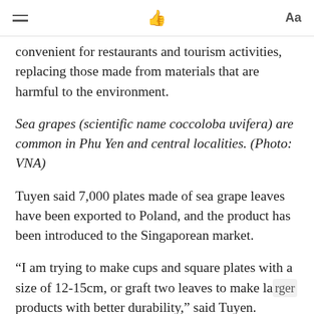≡  👍  Aa
convenient for restaurants and tourism activities, replacing those made from materials that are harmful to the environment.
Sea grapes (scientific name coccoloba uvifera) are common in Phu Yen and central localities. (Photo: VNA)
Tuyen said 7,000 plates made of sea grape leaves have been exported to Poland, and the product has been introduced to the Singaporean market.
“I am trying to make cups and square plates with a size of 12-15cm, or graft two leaves to make larger products with better durability,” said Tuyen.